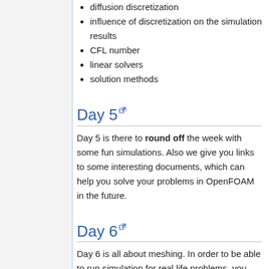diffusion discretization
influence of discretization on the simulation results
CFL number
linear solvers
solution methods
Day 5
Day 5 is there to round off the week with some fun simulations. Also we give you links to some interesting documents, which can help you solve your problems in OpenFOAM in the future.
Day 6
Day 6 is all about meshing. In order to be able to run simulation for real life problems, you have to understand how to create an arbitrary high quality mesh